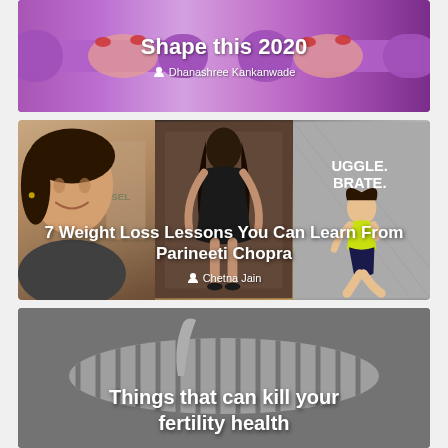[Figure (photo): Article card showing purple dumbbells with hands gripping them, fitness theme]
Shape this 2020
Dhanashree Kankanwade
[Figure (photo): Article card with three panels showing Parineeti Chopra at different weights/styles]
7 Weight Loss Lessons You Can Learn From Parineeti Chopra
Chetna Jain
[Figure (photo): Black and white photo of a woman lying down in striped clothing, fertility health article]
Things that can kill your fertility health